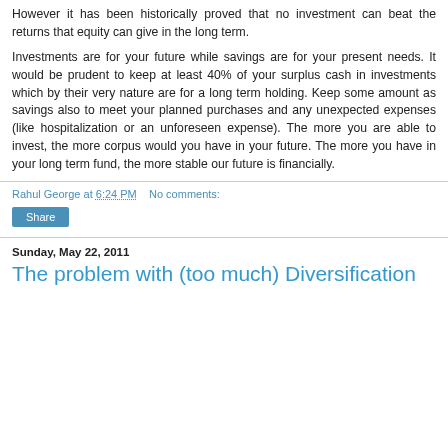However it has been historically proved that no investment can beat the returns that equity can give in the long term.
Investments are for your future while savings are for your present needs. It would be prudent to keep at least 40% of your surplus cash in investments which by their very nature are for a long term holding. Keep some amount as savings also to meet your planned purchases and any unexpected expenses (like hospitalization or an unforeseen expense). The more you are able to invest, the more corpus would you have in your future. The more you have in your long term fund, the more stable our future is financially.
Rahul George at 6:24 PM   No comments:
Share
Sunday, May 22, 2011
The problem with (too much) Diversification